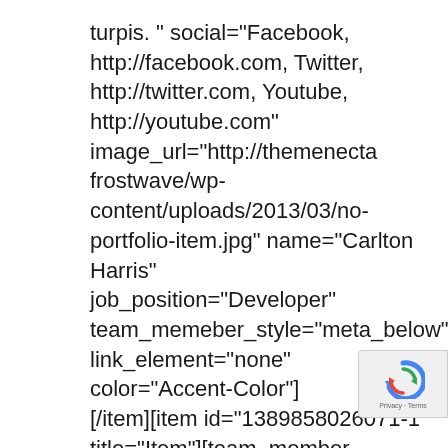turpis. " social="Facebook, http://facebook.com, Twitter, http://twitter.com, Youtube, http://youtube.com" image_url="http://themenecta frostwave/wp-content/uploads/2013/03/no-portfolio-item.jpg" name="Carlton Harris" job_position="Developer" team_memeber_style="meta_below" link_element="none" color="Accent-Color"] [/item][item id="1389858026071-1" title="Item"][team_member description="Lorem ipsum dolor sit amet, consectetur adipiscing elit. Integer lorem quam, adipiscing condimentum tristique vel,
[Figure (other): reCAPTCHA badge widget with blue circular arrow icon and Privacy/Terms text]